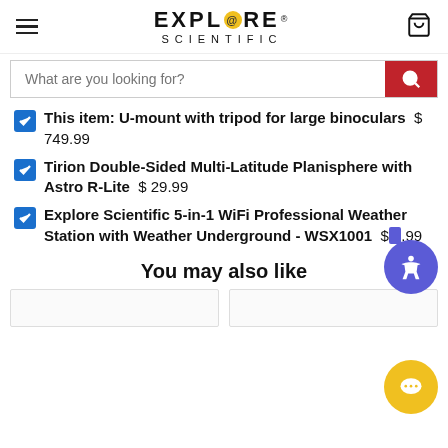Explore Scientific — navigation header with hamburger menu and cart icon
What are you looking for? [search bar]
This item: U-mount with tripod for large binoculars $749.99
Tirion Double-Sided Multi-Latitude Planisphere with Astro R-Lite $29.99
Explore Scientific 5-in-1 WiFi Professional Weather Station with Weather Underground - WSX1001 $[price partially obscured].99
You may also like